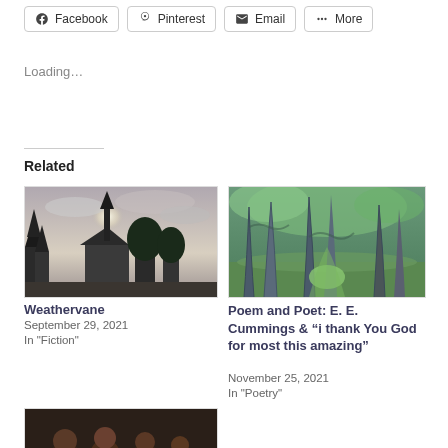[Figure (other): Social share buttons row: Facebook, Pinterest, Email, More]
Loading...
Related
[Figure (photo): Church steeple silhouette against cloudy sky with trees]
Weathervane
September 29, 2021
In "Fiction"
[Figure (photo): Painting of a forest path with green trees]
Poem and Poet: E. E. Cummings & “i thank You God for most this amazing”
November 25, 2021
In "Poetry"
[Figure (photo): Dark painting of figures, partially visible at bottom]